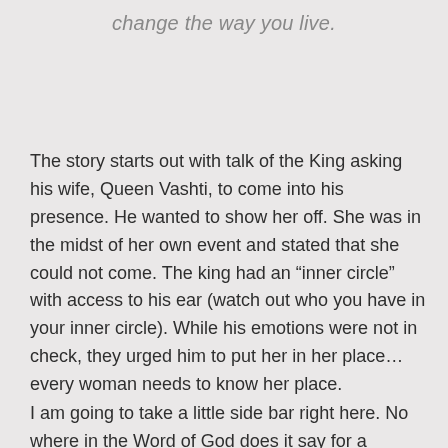change the way you live.
The story starts out with talk of the King asking his wife, Queen Vashti, to come into his presence. He wanted to show her off. She was in the midst of her own event and stated that she could not come. The king had an “inner circle” with access to his ear (watch out who you have in your inner circle). While his emotions were not in check, they urged him to put her in her place…every woman needs to know her place.
I am going to take a little side bar right here. No where in the Word of God does it say for a husband to